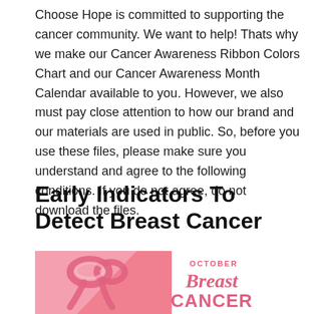Choose Hope is committed to supporting the cancer community. We want to help! Thats why we make our Cancer Awareness Ribbon Colors Chart and our Cancer Awareness Month Calendar available to you. However, we also must pay close attention to how our brand and our materials are used in public. So, before you use these files, please make sure you understand and agree to the following conditions. If you do not agree, do not download the files.
Early Indicators To Detect Breast Cancer
[Figure (illustration): Breast cancer awareness illustration with a pink ribbon on a pink diagonal background on the left, and 'OCTOBER Breast Cancer' text in pink script on the right against a white background.]